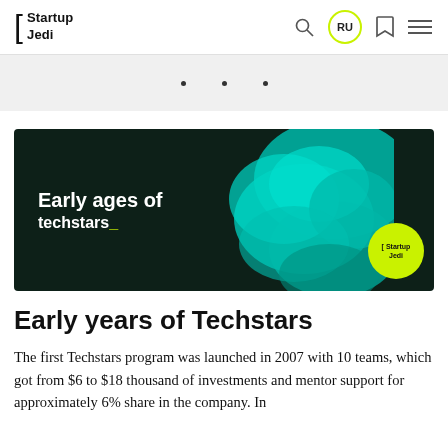[ Startup Jedi — navigation bar with RU badge, search, bookmark, and menu icons
[Figure (screenshot): Navigation dots row (3 dots) on a light gray background]
[Figure (photo): Banner image: dark background with teal ink smoke cloud, text 'Early ages of techstars_' in white and yellow-green, yellow-green circular Startup Jedi badge in bottom right corner]
Early years of Techstars
The first Techstars program was launched in 2007 with 10 teams, which got from $6 to $18 thousand of investments and mentor support for approximately 6% share in the company. In